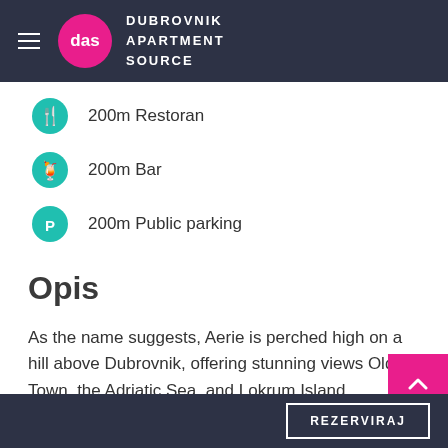DUBROVNIK APARTMENT SOURCE
200m Restoran
200m Bar
200m Public parking
Opis
As the name suggests, Aerie is perched high on a hill above Dubrovnik, offering stunning views Old Town, the Adriatic Sea, and Lokrum Island.
REZERVIRAJ